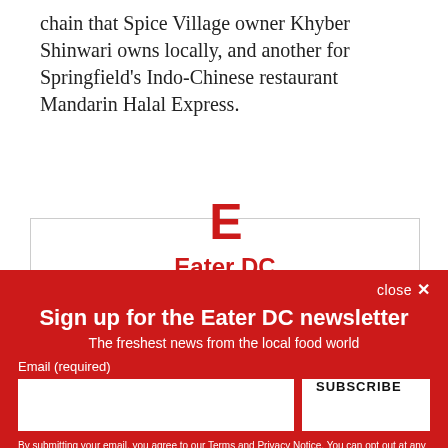chain that Spice Village owner Khyber Shinwari owns locally, and another for Springfield's Indo-Chinese restaurant Mandarin Halal Express.
[Figure (other): Eater DC newsletter signup widget showing the Eater 'E' logo in red, title 'Eater DC', and text 'Sign up for our newsletter']
close ✕
Sign up for the Eater DC newsletter
The freshest news from the local food world
Email (required)
SUBSCRIBE
By submitting your email, you agree to our Terms and Privacy Notice. You can opt out at any time. This site is protected by reCAPTCHA and the Google Privacy Policy and Terms of Service apply.